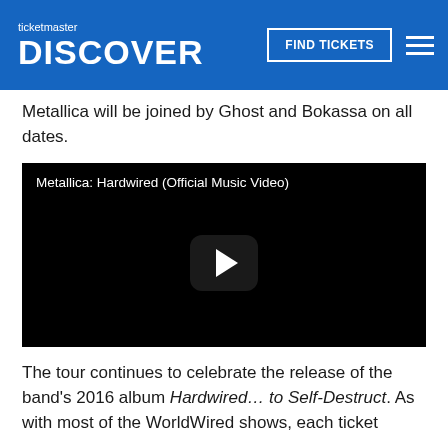ticketmaster DISCOVER | FIND TICKETS
Metallica will be joined by Ghost and Bokassa on all dates.
[Figure (screenshot): Embedded YouTube video thumbnail showing 'Metallica: Hardwired (Official Music Video)' with a black background and a play button in the center.]
The tour continues to celebrate the release of the band's 2016 album Hardwired… to Self-Destruct. As with most of the WorldWired shows, each ticket